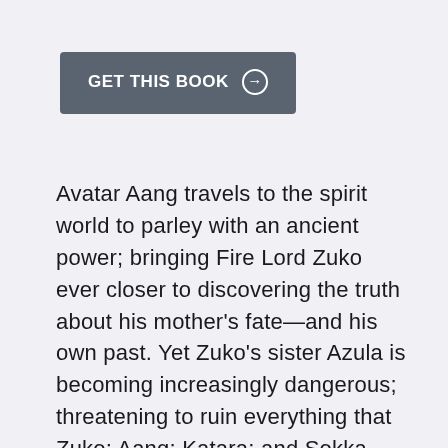GET THIS BOOK →
Avatar Aang travels to the spirit world to parley with an ancient power; bringing Fire Lord Zuko ever closer to discovering the truth about his mother's fate—and his own past. Yet Zuko's sister Azula is becoming increasingly dangerous; threatening to ruin everything that Zuko; Aang; Katara; and Sokka have struggled to achieve on their search! * The official continuation of Airbender from its creators; Michael Dante DiMartino and Bryan Konietzko!